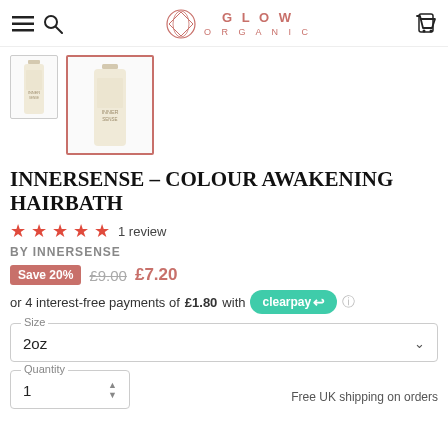GLOW ORGANIC
[Figure (photo): Two product thumbnails of Innersense Colour Awakening Hairbath bottles. Second thumbnail is selected with a salmon/pink border.]
INNERSENSE – COLOUR AWAKENING HAIRBATH
★★★★½ 1 review
BY INNERSENSE
Save 20% £9.00 £7.20
or 4 interest-free payments of £1.80 with clearpay
Size: 2oz
Quantity: 1
Free UK shipping on orders